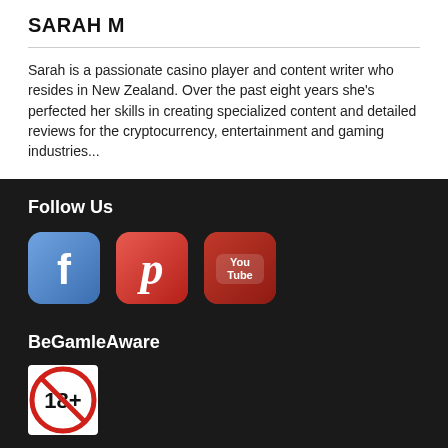SARAH M
Sarah is a passionate casino player and content writer who resides in New Zealand. Over the past eight years she's perfected her skills in creating specialized content and detailed reviews for the cryptocurrency, entertainment and gaming industries...
Follow Us
[Figure (illustration): Three social media icons: Facebook (blue rounded square with white F), Pinterest (red rounded square with white P), YouTube (dark red rounded square with You Tube text)]
BeGamleAware
[Figure (illustration): 18+ age restriction badge: red circle with diagonal bar over '18+' text]
About
Contact